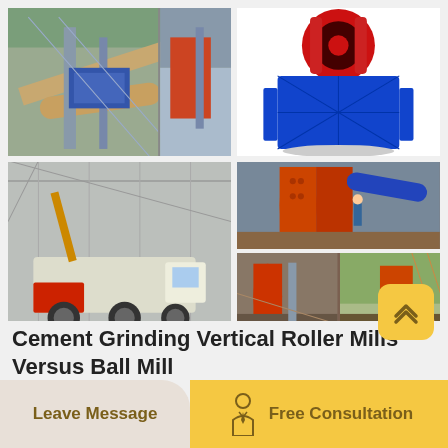[Figure (photo): Industrial mining plant with conveyor belts and machinery (two sub-photos side by side)]
[Figure (photo): Blue jaw crusher machinery with red flywheel on white background]
[Figure (photo): Mobile crushing plant on wheels inside industrial facility]
[Figure (photo): Ball mills / cylindrical grinding mills in industrial setting (two sub-photos stacked)]
Cement Grinding Vertical Roller Mills Versus Ball Mill
Leave Message | Free Consultation